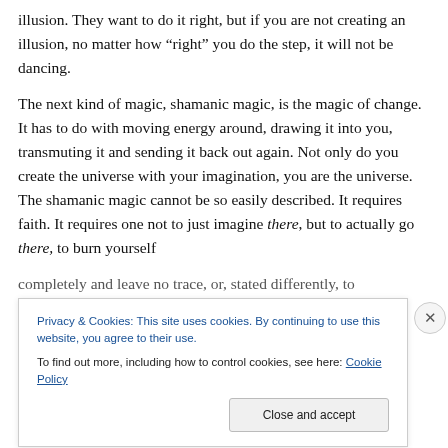illusion. They want to do it right, but if you are not creating an illusion, no matter how “right” you do the step, it will not be dancing.
The next kind of magic, shamanic magic, is the magic of change. It has to do with moving energy around, drawing it into you, transmuting it and sending it back out again. Not only do you create the universe with your imagination, you are the universe. The shamanic magic cannot be so easily described. It requires faith. It requires one not to just imagine there, but to actually go there, to burn yourself completely and leave no trace, or, stated differently, to
Privacy & Cookies: This site uses cookies. By continuing to use this website, you agree to their use.
To find out more, including how to control cookies, see here: Cookie Policy
Close and accept